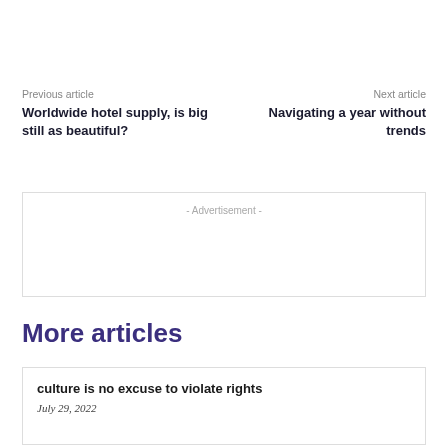Previous article
Worldwide hotel supply, is big still as beautiful?
Next article
Navigating a year without trends
- Advertisement -
More articles
culture is no excuse to violate rights
July 29, 2022